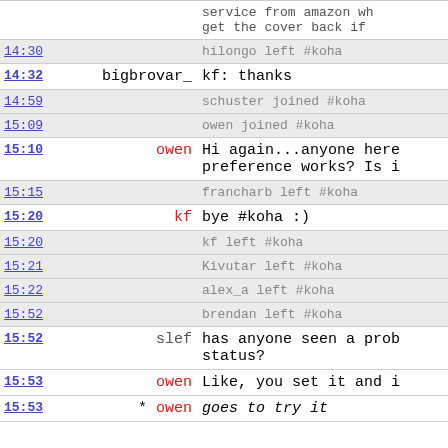| time | nick | message |
| --- | --- | --- |
|  |  | service from amazon whe... get the cover back if ... |
| 14:30 |  | hilongo left #koha |
| 14:32 | bigbrovar_ | kf: thanks |
| 14:59 |  | schuster joined #koha |
| 15:09 |  | owen joined #koha |
| 15:10 | owen | Hi again...anyone here... preference works? Is i... |
| 15:15 |  | francharb left #koha |
| 15:20 | kf | bye #koha :) |
| 15:20 |  | kf left #koha |
| 15:21 |  | Kivutar left #koha |
| 15:22 |  | alex_a left #koha |
| 15:52 |  | brendan left #koha |
| 15:52 | slef | has anyone seen a prob... status? |
| 15:53 | owen | Like, you set it and i... |
| 15:53 | * owen | goes to try it |